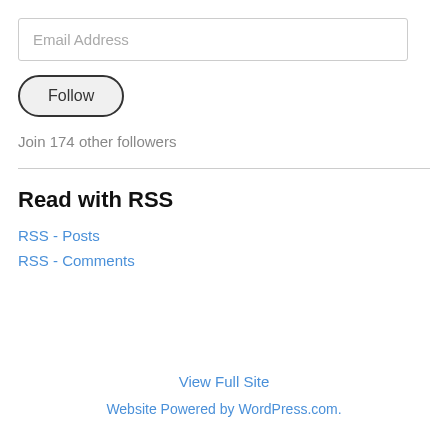Email Address
Follow
Join 174 other followers
Read with RSS
RSS - Posts
RSS - Comments
View Full Site
Website Powered by WordPress.com.